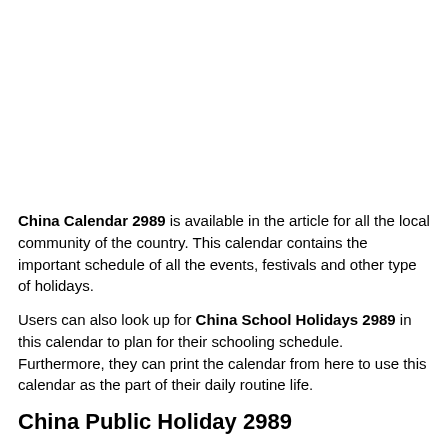China Calendar 2989 is available in the article for all the local community of the country. This calendar contains the important schedule of all the events, festivals and other type of holidays.
Users can also look up for China School Holidays 2989 in this calendar to plan for their schooling schedule. Furthermore, they can print the calendar from here to use this calendar as the part of their daily routine life.
China Public Holiday 2989
We know that China is a All majority Nation therefore just like other countries there are the long list of Public China Holidays 2989. All of these holidays are significant, since these holidays are